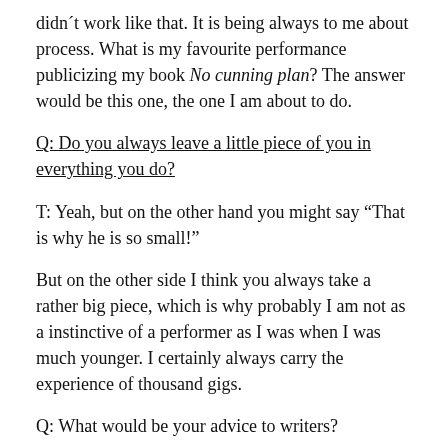didnʼt work like that. It is being always to me about process. What is my favourite performance publicizing my book No cunning plan? The answer would be this one, the one I am about to do.
Q: Do you always leave a little piece of you in everything you do?
T: Yeah, but on the other hand you might say “That is why he is so small!”
But on the other side I think you always take a rather big piece, which is why probably I am not as a instinctive of a performer as I was when I was much younger. I certainly always carry the experience of thousand gigs.
Q: What would be your advice to writers?